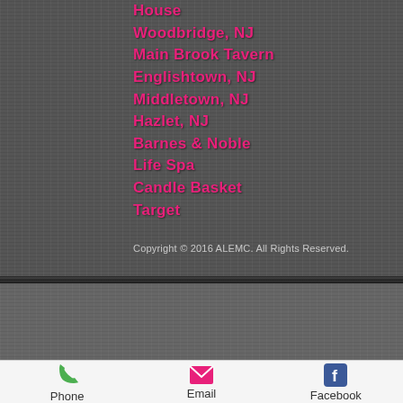House
Woodbridge, NJ
Main Brook Tavern
Englishtown, NJ
Middletown, NJ
Hazlet, NJ
Barnes & Noble
Life Spa
Candle Basket
Target
Copyright © 2016 ALEMC. All Rights Reserved.
[Figure (screenshot): Navigation UI section with down arrow and up button on textured dark background]
Phone  Email  Facebook